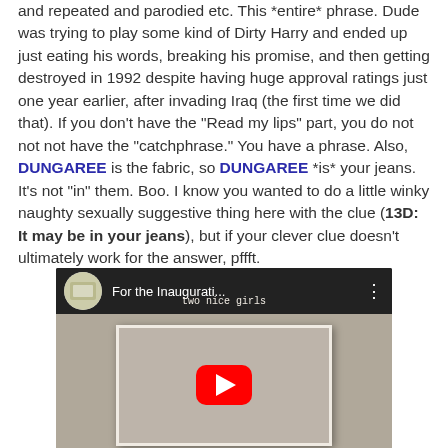and repeated and parodied etc. This *entire* phrase. Dude was trying to play some kind of Dirty Harry and ended up just eating his words, breaking his promise, and then getting destroyed in 1992 despite having huge approval ratings just one year earlier, after invading Iraq (the first time we did that). If you don't have the "Read my lips" part, you do not not not have the "catchphrase." You have a phrase. Also, DUNGAREE is the fabric, so DUNGAREE *is* your jeans. It's not "in" them. Boo. I know you wanted to do a little winky naughty sexually suggestive thing here with the clue (13D: It may be in your jeans), but if your clever clue doesn't ultimately work for the answer, pffft.
[Figure (screenshot): Embedded YouTube video thumbnail showing 'For the Inaugurati...' title, with a red play button over an album cover image labeled 'two nice girls' and 'chloe liked olivia']